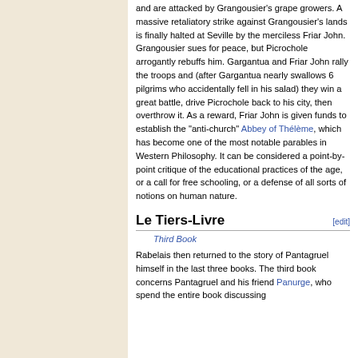and are attacked by Grangousier's grape growers. A massive retaliatory strike against Grangousier's lands is finally halted at Seville by the merciless Friar John. Grangousier sues for peace, but Picrochole arrogantly rebuffs him. Gargantua and Friar John rally the troops and (after Gargantua nearly swallows 6 pilgrims who accidentally fell in his salad) they win a great battle, drive Picrochole back to his city, then overthrow it. As a reward, Friar John is given funds to establish the "anti-church" Abbey of Thélème, which has become one of the most notable parables in Western Philosophy. It can be considered a point-by-point critique of the educational practices of the age, or a call for free schooling, or a defense of all sorts of notions on human nature.
Le Tiers-Livre
Third Book
Rabelais then returned to the story of Pantagruel himself in the last three books. The third book concerns Pantagruel and his friend Panurge, who spend the entire book discussing